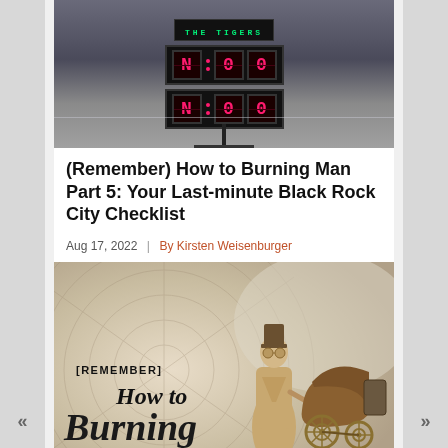[Figure (photo): A scoreboard-style LED display showing 'N:00' / 'N:00' in pink/red digits on a black background, with a misty flat desert landscape behind it. Small silhouetted figures and structures on the horizon.]
(Remember) How to Burning Man Part 5: Your Last-minute Black Rock City Checklist
Aug 17, 2022 | By Kirsten Weisenburger
[Figure (illustration): Illustrated promotional image for '(Remember) How to Burning Man' showing a Victorian-era figure in long coat and top hat pushing an old-fashioned baby carriage/pram, with a large spider-web circle in the background. The title text reads '[Remember] How to Burning Man' in stylized script.]